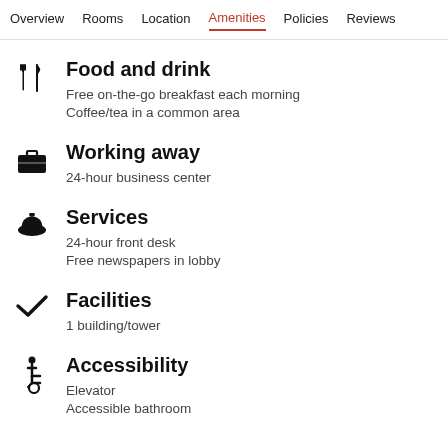Overview  Rooms  Location  Amenities  Policies  Reviews
Food and drink
Free on-the-go breakfast each morning
Coffee/tea in a common area
Working away
24-hour business center
Services
24-hour front desk
Free newspapers in lobby
Facilities
1 building/tower
Accessibility
Elevator
Accessible bathroom